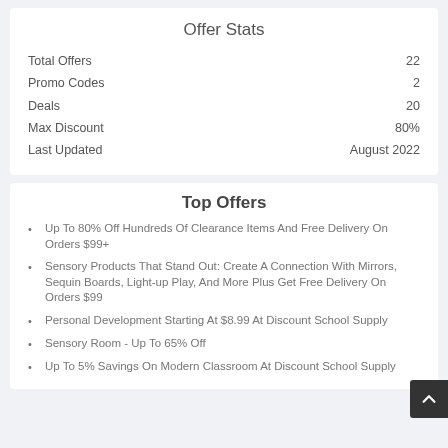Offer Stats
|  |  |
| --- | --- |
| Total Offers | 22 |
| Promo Codes | 2 |
| Deals | 20 |
| Max Discount | 80% |
| Last Updated | August 2022 |
Top Offers
Up To 80% Off Hundreds Of Clearance Items And Free Delivery On Orders $99+
Sensory Products That Stand Out: Create A Connection With Mirrors, Sequin Boards, Light-up Play, And More Plus Get Free Delivery On Orders $99
Personal Development Starting At $8.99 At Discount School Supply
Sensory Room - Up To 65% Off
Up To 5% Savings On Modern Classroom At Discount School Supply